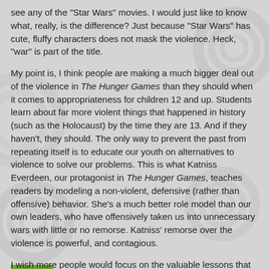see any of the "Star Wars" movies. I would just like to know what, really, is the difference? Just because "Star Wars" has cute, fluffy characters does not mask the violence. Heck, "war" is part of the title.
My point is, I think people are making a much bigger deal out of the violence in The Hunger Games than they should when it comes to appropriateness for children 12 and up. Students learn about far more violent things that happened in history (such as the Holocaust) by the time they are 13. And if they haven't, they should. The only way to prevent the past from repeating itself is to educate our youth on alternatives to violence to solve our problems. This is what Katniss Everdeen, our protagonist in The Hunger Games, teaches readers by modeling a non-violent, defensive (rather than offensive) behavior. She's a much better role model than our own leaders, who have offensively taken us into unnecessary wars with little or no remorse. Katniss' remorse over the violence is powerful, and contagious.
I wish more people would focus on the valuable lessons that can be learned from the series rather than the rating itself.
Tracee Orman at 3/27/2011 12:15:00 PM